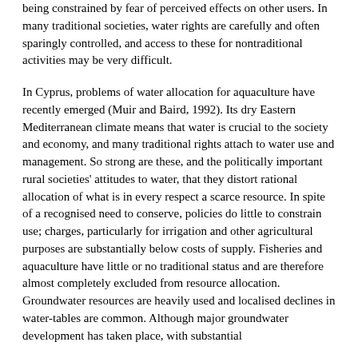being constrained by fear of perceived effects on other users. In many traditional societies, water rights are carefully and often sparingly controlled, and access to these for nontraditional activities may be very difficult.
In Cyprus, problems of water allocation for aquaculture have recently emerged (Muir and Baird, 1992). Its dry Eastern Mediterranean climate means that water is crucial to the society and economy, and many traditional rights attach to water use and management. So strong are these, and the politically important rural societies' attitudes to water, that they distort rational allocation of what is in every respect a scarce resource. In spite of a recognised need to conserve, policies do little to constrain use; charges, particularly for irrigation and other agricultural purposes are substantially below costs of supply. Fisheries and aquaculture have little or no traditional status and are therefore almost completely excluded from resource allocation. Groundwater resources are heavily used and localised declines in water-tables are common. Although major groundwater development has taken place, with substantial